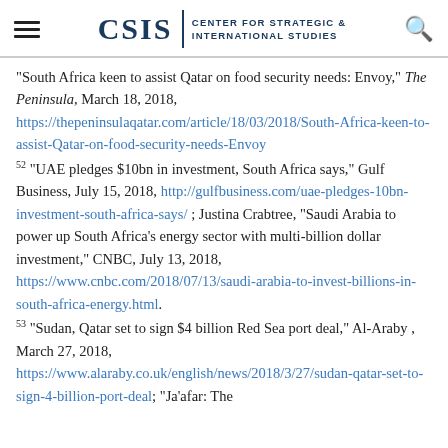CSIS | CENTER FOR STRATEGIC & INTERNATIONAL STUDIES
“South Africa keen to assist Qatar on food security needs: Envoy,” The Peninsula, March 18, 2018, https://thepeninsulaqatar.com/article/18/03/2018/South-Africa-keen-to-assist-Qatar-on-food-security-needs-Envoy
52 “UAE pledges $10bn in investment, South Africa says,” Gulf Business, July 15, 2018, http://gulfbusiness.com/uae-pledges-10bn-investment-south-africa-says/ ; Justina Crabtree, “Saudi Arabia to power up South Africa’s energy sector with multi-billion dollar investment,” CNBC, July 13, 2018, https://www.cnbc.com/2018/07/13/saudi-arabia-to-invest-billions-in-south-africa-energy.html.
53 “Sudan, Qatar set to sign $4 billion Red Sea port deal,” Al-Araby, March 27, 2018, https://www.alaraby.co.uk/english/news/2018/3/27/sudan-qatar-set-to-sign-4-billion-port-deal; “Ja’afar: The